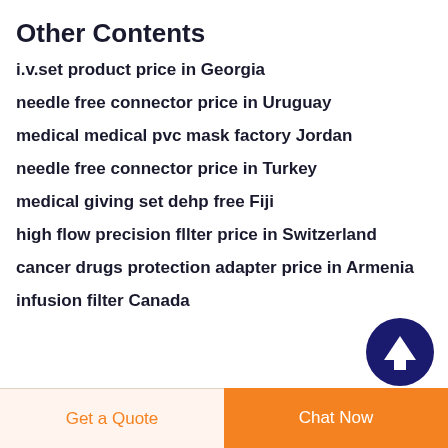Other Contents
i.v.set product price in Georgia
needle free connector price in Uruguay
medical medical pvc mask factory Jordan
needle free connector price in Turkey
medical giving set dehp free Fiji
high flow precision fllter price in Switzerland
cancer drugs protection adapter price in Armenia
infusion filter Canada
[Figure (illustration): Dark navy blue circle button with white upward arrow icon for scrolling to top]
Get a Quote  Chat Now